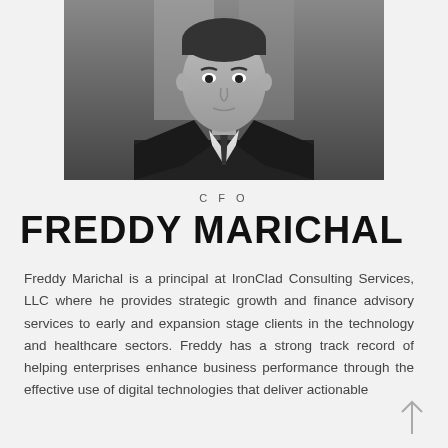[Figure (photo): Black and white portrait photo of Freddy Marichal, a man in a suit and tie, looking directly at the camera.]
CFO
FREDDY MARICHAL
Freddy Marichal is a principal at IronClad Consulting Services, LLC where he provides strategic growth and finance advisory services to early and expansion stage clients in the technology and healthcare sectors. Freddy has a strong track record of helping enterprises enhance business performance through the effective use of digital technologies that deliver actionable